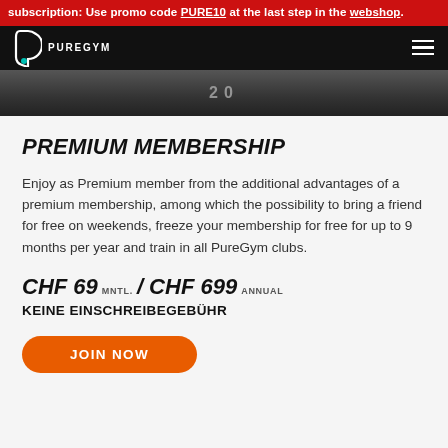subscription: Use promo code PURE10 at the last step in the webshop.
[Figure (logo): PureGym logo on black navigation bar with hamburger menu icon]
[Figure (photo): Gym hero image strip showing weights area with number 20 visible]
PREMIUM MEMBERSHIP
Enjoy as Premium member from the additional advantages of a premium membership, among which the possibility to bring a friend for free on weekends, freeze your membership for free for up to 9 months per year and train in all PureGym clubs.
CHF 69 MNTL. / CHF 699 ANNUAL
KEINE EINSCHREIBEGEBÜHR
JOIN NOW